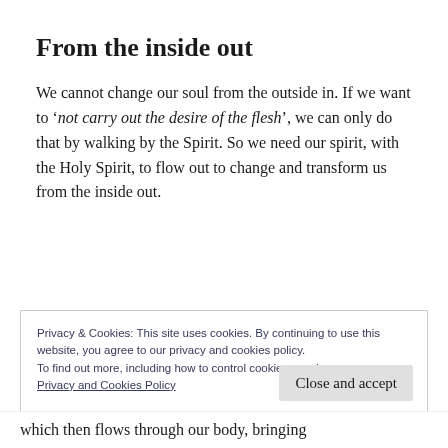From the inside out
We cannot change our soul from the outside in. If we want to ‘not carry out the desire of the flesh’, we can only do that by walking by the Spirit. So we need our spirit, with the Holy Spirit, to flow out to change and transform us from the inside out.
Privacy & Cookies: This site uses cookies. By continuing to use this website, you agree to our privacy and cookies policy. To find out more, including how to control cookies, see here: Privacy and Cookies Policy
which then flows through our body, bringing